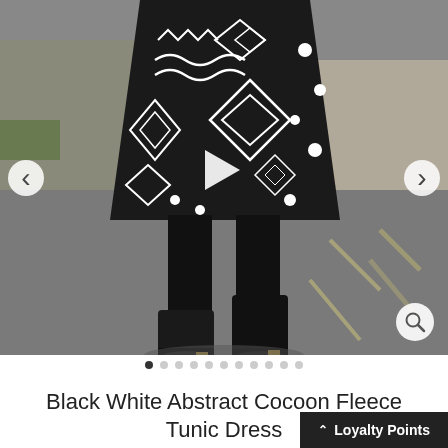[Figure (photo): Person wearing a black and white abstract print cocoon fleece tunic dress with black leggings and black heeled boots, standing on an asphalt road. Navigation arrows visible on left and right sides. A magnify/zoom icon in the bottom right corner of the photo.]
Black White Abstract Cocoon Fleece Tunic Dress
Loyalty Points